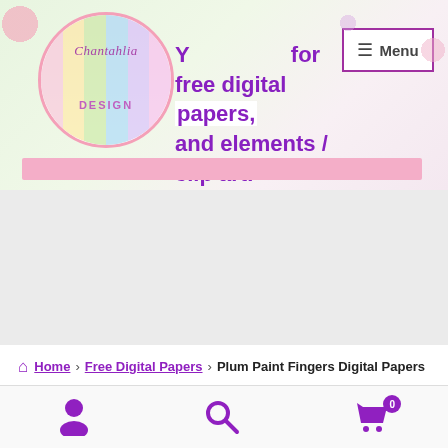[Figure (screenshot): Chantahlia Design website header banner with logo circle containing pastel stripes, tagline text 'Your place for free digital papers, and elements / clip art.', and a Menu button with hamburger icon in top right. Below is a pink horizontal bar.]
[Figure (other): Gray advertisement placeholder area below the header banner.]
Home > Free Digital Papers > Plum Paint Fingers Digital Papers
[Figure (infographic): Bottom navigation bar with person/account icon, search magnifier icon, and shopping cart icon with badge showing 0.]